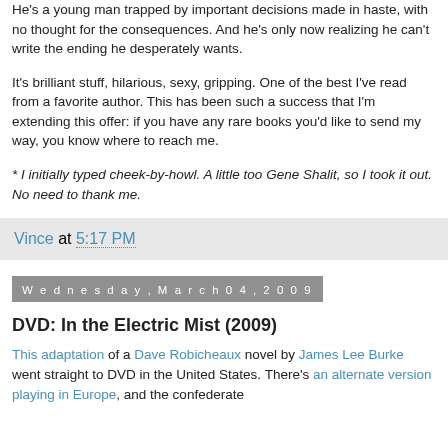He's a young man trapped by important decisions made in haste, with no thought for the consequences. And he's only now realizing he can't write the ending he desperately wants.
It's brilliant stuff, hilarious, sexy, gripping. One of the best I've read from a favorite author. This has been such a success that I'm extending this offer: if you have any rare books you'd like to send my way, you know where to reach me.
* I initially typed cheek-by-howl. A little too Gene Shalit, so I took it out. No need to thank me.
Vince at 5:17 PM
Wednesday, March 04, 2009
DVD: In the Electric Mist (2009)
This adaptation of a Dave Robicheaux novel by James Lee Burke went straight to DVD in the United States. There's an alternate version playing in Europe, and the confederate